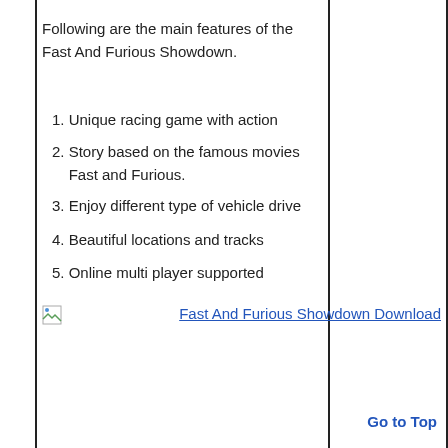Following are the main features of the Fast And Furious Showdown.
1. Unique racing game with action
2. Story based on the famous movies Fast and Furious.
3. Enjoy different type of vehicle drive
4. Beautiful locations and tracks
5. Online multi player supported
[Figure (other): Broken image icon placeholder]
Fast And Furious Showdown Download
Go to Top